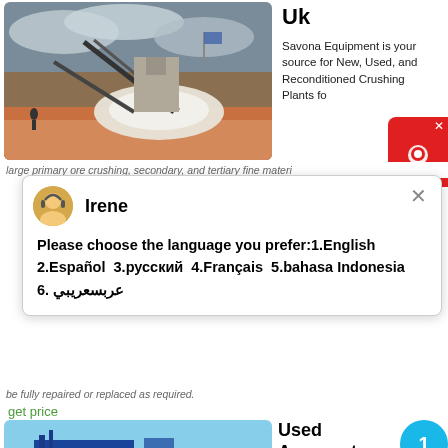[Figure (photo): Outdoor mining/crushing plant site with machinery, conveyor belts, and excavated earth]
Uk
Savona Equipment is your source for New, Used, and Reconditioned Crushing Plants fo
large primary ore crushing, secondary, and tertiary fine materi
Please choose the language you prefer:1.English  2.Español  3.русский  4.Français  5.bahasa Indonesia  6. عربسعريبي
be fully repaired or replaced as required.
get price
[Figure (photo): Blue and yellow used crushing plant machinery outdoors in a rocky desert setting]
Used Aggregates Crushing Plants From Uk
Aggregates account for approximately 85